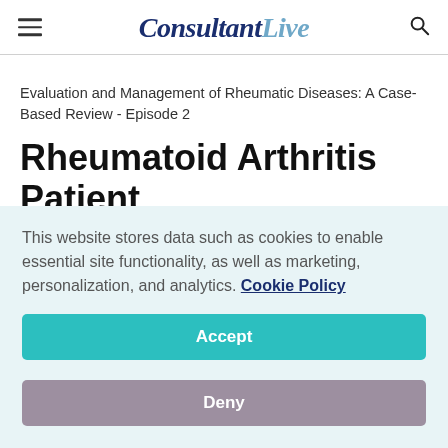ConsultantLive
Evaluation and Management of Rheumatic Diseases: A Case-Based Review - Episode 2
Rheumatoid Arthritis Patient Case Overview and
This website stores data such as cookies to enable essential site functionality, as well as marketing, personalization, and analytics. Cookie Policy
Accept
Deny